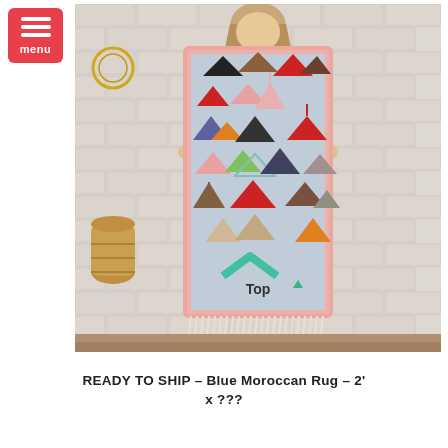[Figure (photo): A woman with long blonde hair holds up a colorful Moroccan rug with triangle patterns against a white brick wall. The rug has a pink border, multicolored triangle motifs, a teal chevron near the bottom with 'Top' text, and cream fringe at the bottom. A woven basket and wood floor are visible.]
READY TO SHIP – Blue Moroccan Rug – 2' x ???